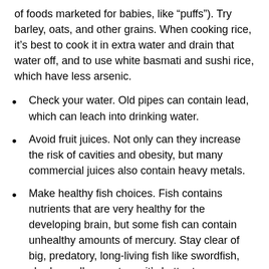of foods marketed for babies, like “puffs”). Try barley, oats, and other grains. When cooking rice, it’s best to cook it in extra water and drain that water off, and to use white basmati and sushi rice, which have less arsenic.
Check your water. Old pipes can contain lead, which can leach into drinking water.
Avoid fruit juices. Not only can they increase the risk of cavities and obesity, but many commercial juices also contain heavy metals.
Make healthy fish choices. Fish contains nutrients that are very healthy for the developing brain, but some fish can contain unhealthy amounts of mercury. Stay clear of big, predatory, long-living fish like swordfish, shark, or albacore tuna; it’s better to